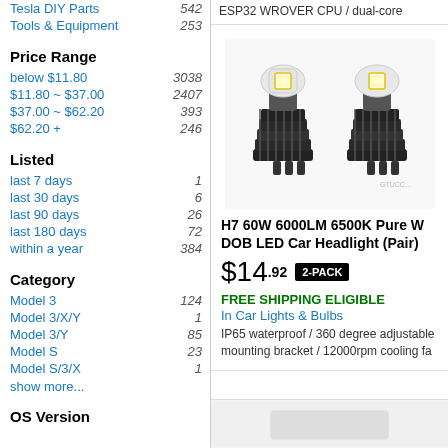Tesla DIY Parts  542
Tools & Equipment  253
Price Range
below $11.80  3038
$11.80 ~ $37.00  2407
$37.00 ~ $62.20  393
$62.20 +  246
Listed
last 7 days  1
last 30 days  6
last 90 days  26
last 180 days  72
within a year  384
Category
Model 3  124
Model 3/X/Y  1
Model 3/Y  85
Model S  23
Model S/3/X  1
show more...
OS Version
ESP32 WROVER CPU / dual-core
[Figure (photo): Two H7 LED car headlight bulbs with black heat sink bases and white/yellow LED chips]
H7 60W 6000LM 6500K Pure W DOB LED Car Headlight (Pair)
$14.92  2-PACK
FREE SHIPPING ELIGIBLE
In Car Lights & Bulbs
IP65 waterproof / 360 degree adjustable mounting bracket / 12000rpm cooling fa